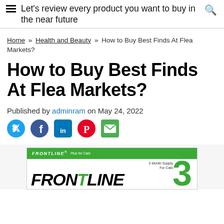Let's review every product you want to buy in the near future
Home » Health and Beauty » How to Buy Best Finds At Flea Markets?
How to Buy Best Finds At Flea Markets?
Published by adminram on May 24, 2022
[Figure (other): Social share icons: Twitter, Facebook, LinkedIn, Pinterest, Email]
[Figure (photo): Frontline brand product box showing '3' on the side, green and white packaging]